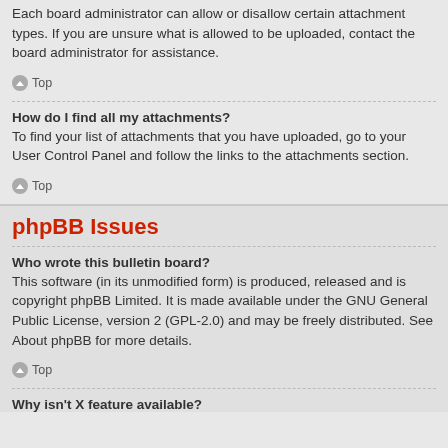Each board administrator can allow or disallow certain attachment types. If you are unsure what is allowed to be uploaded, contact the board administrator for assistance.
Top
How do I find all my attachments?
To find your list of attachments that you have uploaded, go to your User Control Panel and follow the links to the attachments section.
Top
phpBB Issues
Who wrote this bulletin board?
This software (in its unmodified form) is produced, released and is copyright phpBB Limited. It is made available under the GNU General Public License, version 2 (GPL-2.0) and may be freely distributed. See About phpBB for more details.
Top
Why isn't X feature available?